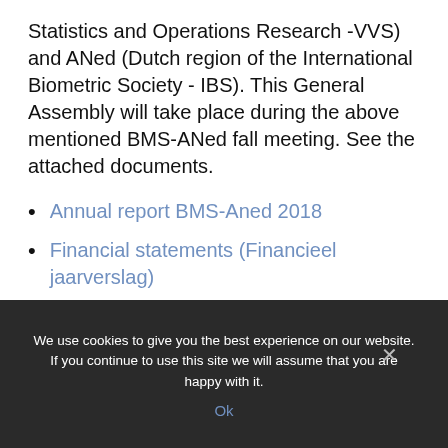Statistics and Operations Research -VVS) and ANed (Dutch region of the International Biometric Society - IBS). This General Assembly will take place during the above mentioned BMS-ANed fall meeting. See the attached documents.
Annual report BMS-Aned 2018
Financial statements (Financieel jaarverslag)
We use cookies to give you the best experience on our website. If you continue to use this site we will assume that you are happy with it.
Ok